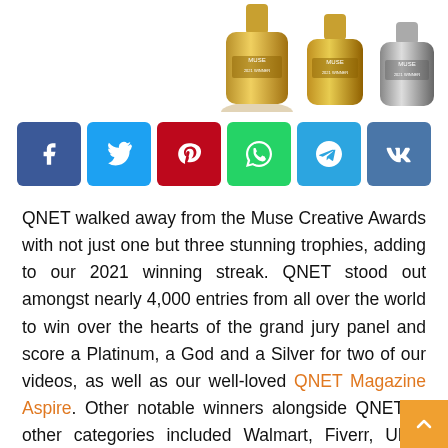[Figure (photo): Three MUSE award trophy bottles (gold/platinum, gold, silver) partially visible at the top of the page]
[Figure (infographic): Row of six social media share buttons: Facebook (blue), Twitter (cyan), Pinterest (red), WhatsApp (green), Telegram (blue), VK (steel blue)]
QNET walked away from the Muse Creative Awards with not just one but three stunning trophies, adding to our 2021 winning streak. QNET stood out amongst nearly 4,000 entries from all over the world to win over the hearts of the grand jury panel and score a Platinum, a God and a Silver for two of our videos, as well as our well-loved QNET Magazine Aspire. Other notable winners alongside QNET in other categories included Walmart, Fiverr, UFC, TikTok Canada, Jo Malone London, BBC Studio Events, Burberry Beauty, McKinsey Global, Maersk, Caterpillar, among others.